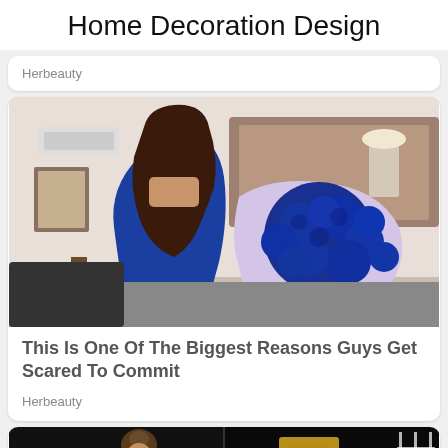Home Decoration Design
Herbeauty
[Figure (photo): Woman in blue dress holding a large bouquet of blue roses]
This Is One Of The Biggest Reasons Guys Get Scared To Commit
Herbeauty
[Figure (photo): Partial view of a person at what appears to be a dark venue, split image]